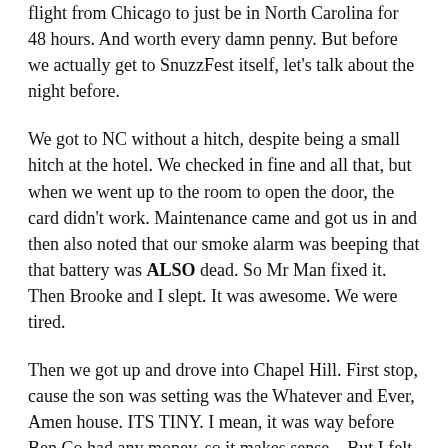flight from Chicago to just be in North Carolina for 48 hours. And worth every damn penny. But before we actually get to SnuzzFest itself, let's talk about the night before.
We got to NC without a hitch, despite being a small hitch at the hotel. We checked in fine and all that, but when we went up to the room to open the door, the card didn't work. Maintenance came and got us in and then also noted that our smoke alarm was beeping that that battery was ALSO dead. So Mr Man fixed it. Then Brooke and I slept. It was awesome. We were tired.
Then we got up and drove into Chapel Hill. First stop, cause the son was setting was the Whatever and Ever, Amen house. ITS TINY. I mean, it was way before Ben Co had any money, so it makes sense... But I felt SO awkward standing outside, hell, IN THE LAWN of someone else's house, that just happens to live somewhere Ben Folds used to live/recorded his most popular record. Brooke can tell you, I was kinda tweaking out over it.